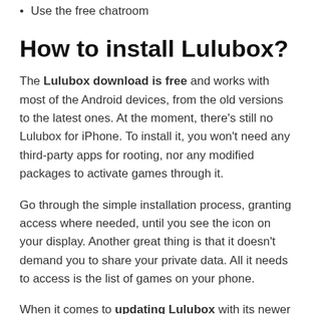Use the free chatroom
How to install Lulubox?
The Lulubox download is free and works with most of the Android devices, from the old versions to the latest ones. At the moment, there's still no Lulubox for iPhone. To install it, you won't need any third-party apps for rooting, nor any modified packages to activate games through it.
Go through the simple installation process, granting access where needed, until you see the icon on your display. Another great thing is that it doesn't demand you to share your private data. All it needs to access is the list of games on your phone.
When it comes to updating Lulubox with its newer